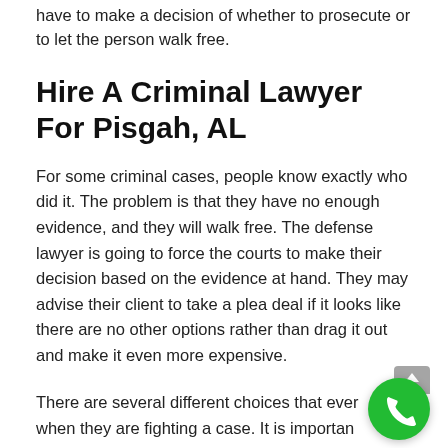have to make a decision of whether to prosecute or to let the person walk free.
Hire A Criminal Lawyer For Pisgah, AL
For some criminal cases, people know exactly who did it. The problem is that they have no enough evidence, and they will walk free. The defense lawyer is going to force the courts to make their decision based on the evidence at hand. They may advise their client to take a plea deal if it looks like there are no other options rather than drag it out and make it even more expensive.
There are several different choices that every has when they are fighting a case. It is important